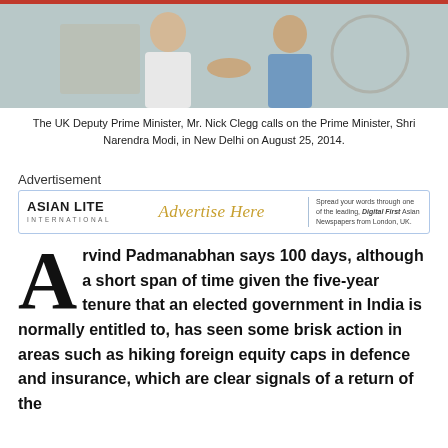[Figure (photo): Two men shaking hands, one in a light blue shirt and one partially visible, in an indoor setting. Red banner visible at top.]
The UK Deputy Prime Minister, Mr. Nick Clegg calls on the Prime Minister, Shri Narendra Modi, in New Delhi on August 25, 2014.
Advertisement
[Figure (logo): Asian Lite advertisement banner with logo on left, 'Advertise Here' text in center, and tagline on right: 'Spread your words through one of the leading, Digital First Asian Newspapers from London, UK.']
Arvind Padmanabhan says 100 days, although a short span of time given the five-year tenure that an elected government in India is normally entitled to, has seen some brisk action in areas such as hiking foreign equity caps in defence and insurance, which are clear signals of a return of the